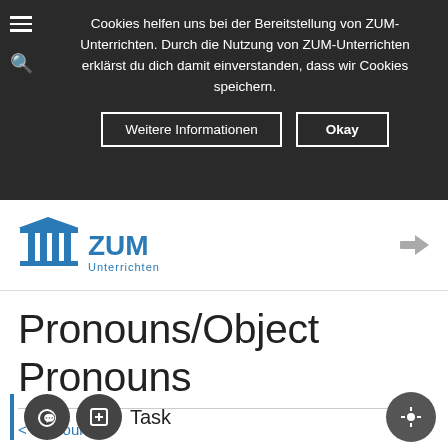Cookies helfen uns bei der Bereitstellung von ZUM-Unterrichten. Durch die Nutzung von ZUM-Unterrichten erklärst du dich damit einverstanden, dass wir Cookies speichern.
Weitere Informationen
Okay
[Figure (logo): ZUM Unterrichten logo with blue temple/pillar icon and blue text]
Pronouns/Object Pronouns
< Pronouns
Task